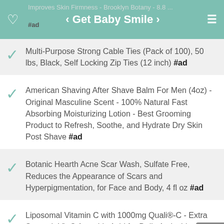< Get Baby Smile >
Improves Skin Firmness - Brooklyn Botany - 8.8 ... #ad
Multi-Purpose Strong Cable Ties (Pack of 100), 50 lbs, Black, Self Locking Zip Ties (12 inch) #ad
American Shaving After Shave Balm For Men (4oz) - Original Masculine Scent - 100% Natural Fast Absorbing Moisturizing Lotion - Best Grooming Product to Refresh, Soothe, and Hydrate Dry Skin Post Shave #ad
Botanic Hearth Acne Scar Wash, Sulfate Free, Reduces the Appearance of Scars and Hyperpigmentation, for Face and Body, 4 fl oz #ad
Liposomal Vitamin C with 1000mg Quali®-C - Extra Strength Vit-C Ascorbic Acid for Daily Antioxidant Immune Health - Powerful Energy Boost & Skin